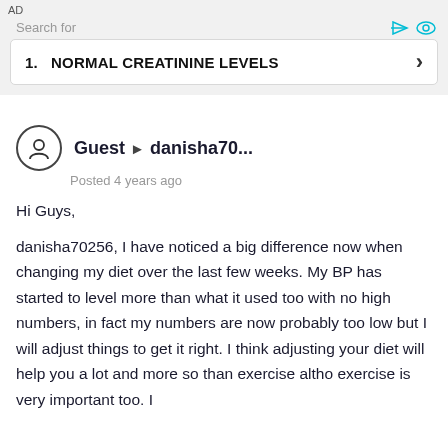AD
[Figure (screenshot): Advertisement banner: Search for 1. NORMAL CREATININE LEVELS with a chevron arrow button]
Guest ▶ danisha70...
Posted 4 years ago
Hi Guys,
danisha70256, I have noticed a big difference now when changing my diet over the last few weeks. My BP has started to level more than what it used too with no high numbers, in fact my numbers are now probably too low but I will adjust things to get it right. I think adjusting your diet will help you a lot and more so than exercise altho exercise is very important too. I